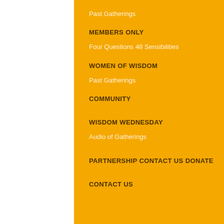Past Gatherings
MEMBERS ONLY
Four Questions
48 Sensibilities
WOMEN OF WISDOM
Past Gatherings
COMMUNITY
WISDOM WEDNESDAY
Audio of Gatherings
PARTNERSHIP
CONTACT US
DONATE
CONTACT US